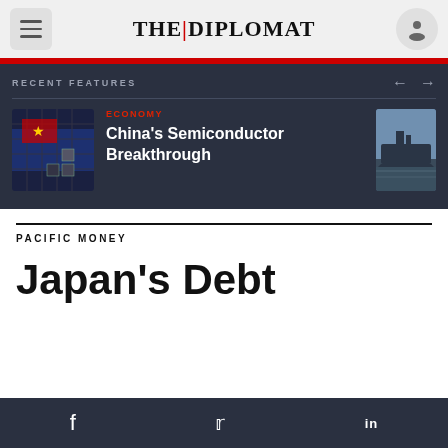THE | DIPLOMAT
RECENT FEATURES
[Figure (screenshot): Thumbnail image of a semiconductor chip with Chinese flag overlay]
ECONOMY
China's Semiconductor Breakthrough
[Figure (photo): Thumbnail image of a military warship at sea]
PACIFIC MONEY
Japan's Debt
f   twitter   in